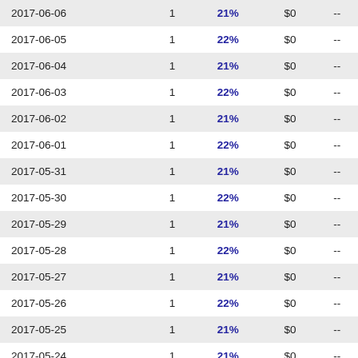| Date |  | % | $ |  |
| --- | --- | --- | --- | --- |
| 2017-06-06 | 1 | 21% | $0 | -- |
| 2017-06-05 | 1 | 22% | $0 | -- |
| 2017-06-04 | 1 | 21% | $0 | -- |
| 2017-06-03 | 1 | 22% | $0 | -- |
| 2017-06-02 | 1 | 21% | $0 | -- |
| 2017-06-01 | 1 | 22% | $0 | -- |
| 2017-05-31 | 1 | 21% | $0 | -- |
| 2017-05-30 | 1 | 22% | $0 | -- |
| 2017-05-29 | 1 | 21% | $0 | -- |
| 2017-05-28 | 1 | 22% | $0 | -- |
| 2017-05-27 | 1 | 21% | $0 | -- |
| 2017-05-26 | 1 | 22% | $0 | -- |
| 2017-05-25 | 1 | 21% | $0 | -- |
| 2017-05-24 | 1 | 21% | $0 | -- |
| 2017-05-23 | 1 | 21% | $0 | -- |
| 2017-05-22 | 1 | 21% | $0 | -- |